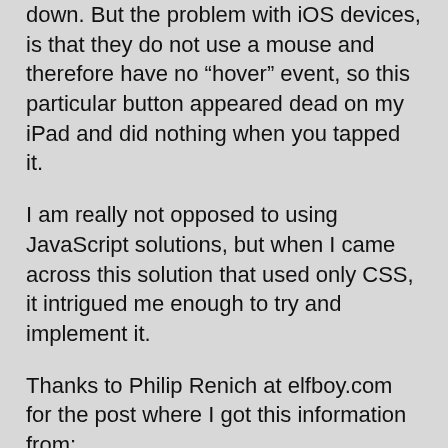down. But the problem with iOS devices, is that they do not use a mouse and therefore have no “hover” event, so this particular button appeared dead on my iPad and did nothing when you tapped it.
I am really not opposed to using JavaScript solutions, but when I came across this solution that used only CSS, it intrigued me enough to try and implement it.
Thanks to Philip Renich at elfboy.com for the post where I got this information from:
Click here to go to original article
The best way I can explain how it works, is that you need to setup the <ul> tag as display:none; and then when it is tapped, it changes to